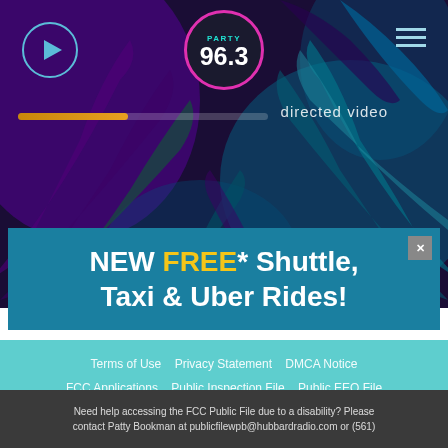[Figure (screenshot): Radio station website screenshot for Party 96.3 with dark tropical palm leaf background, play button top-left, logo center-top, hamburger menu top-right, audio progress bar, and directed video text]
[Figure (infographic): Advertisement banner: NEW FREE* Shuttle, Taxi & Uber Rides! with close button]
Terms of Use   Privacy Statement   DMCA Notice   FCC Applications   Public Inspection File   Public EEO File   Contest Rules   Contact Us   Job Opportunities   Advertise With Us
[Figure (infographic): Social media icon row: Facebook, Twitter, Instagram, YouTube, and one other icon]
Need help accessing the FCC Public File due to a disability? Please contact Patty Bookman at publicfilewpb@hubbardradio.com or (561)